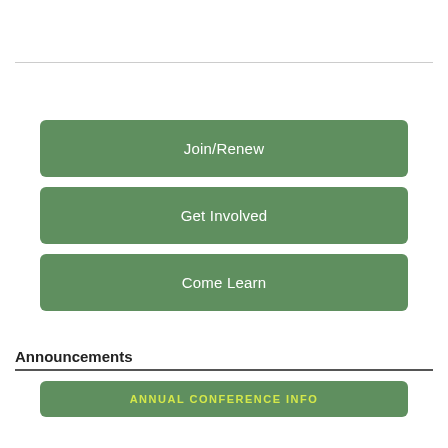Join/Renew
Get Involved
Come Learn
Announcements
ANNUAL CONFERENCE INFO